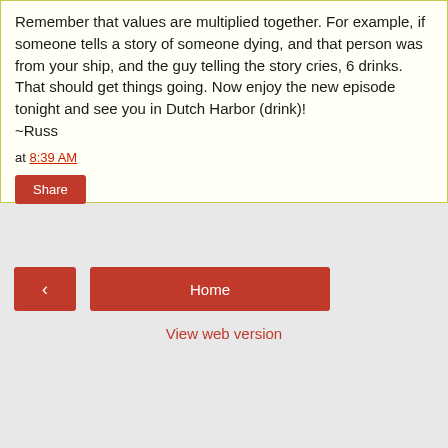Remember that values are multiplied together. For example, if someone tells a story of someone dying, and that person was from your ship, and the guy telling the story cries, 6 drinks. That should get things going. Now enjoy the new episode tonight and see you in Dutch Harbor (drink)!
~Russ
at 8:39 AM
Share
‹
Home
View web version